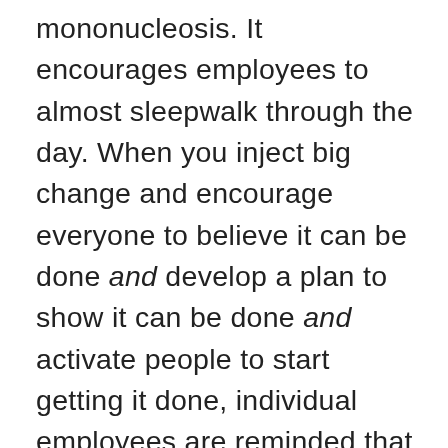mononucleosis. It encourages employees to almost sleepwalk through the day. When you inject big change and encourage everyone to believe it can be done and develop a plan to show it can be done and activate people to start getting it done, individual employees are reminded that there IS something more than either the status quo or 'incremental and gradual change' <which they were struggling to discern from the everyday grind anyway>.